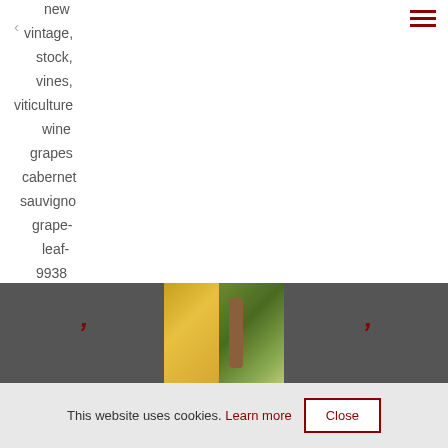new
vintage,
stock,
vines,
viticulture
wine
grapes
cabernet
sauvigno
grape-
leaf-
9938
[Figure (screenshot): Image strip with dark gray panels on left and right showing dark red arrow/chevron icons, and two center photos showing vineyard imagery with warm golden sunlight and a green vine with brown trunk and grape clusters.]
This website uses cookies. Learn more  Close